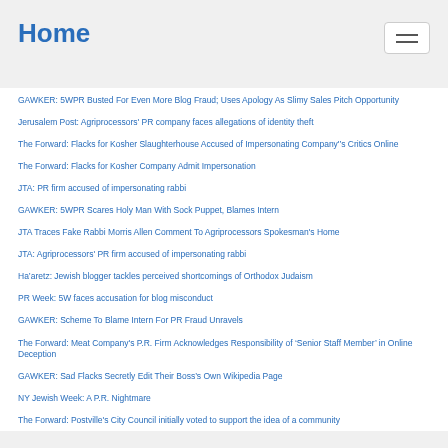Home
GAWKER: 5WPR Busted For Even More Blog Fraud; Uses Apology As Slimy Sales Pitch Opportunity
Jerusalem Post: Agriprocessors' PR company faces allegations of identity theft
The Forward: Flacks for Kosher Slaughterhouse Accused of Impersonating Company'’s Critics Online
The Forward: Flacks for Kosher Company Admit Impersonation
JTA: PR firm accused of impersonating rabbi
GAWKER: 5WPR Scares Holy Man With Sock Puppet, Blames Intern
JTA Traces Fake Rabbi Morris Allen Comment To Agriprocessors Spokesman's Home
JTA: Agriprocessors' PR firm accused of impersonating rabbi
Ha’aretz: Jewish blogger tackles perceived shortcomings of Orthodox Judaism
PR Week: 5W faces accusation for blog misconduct
GAWKER: Scheme To Blame Intern For PR Fraud Unravels
The Forward: Meat Company's P.R. Firm Acknowledges Responsibility of ‘Senior Staff Member’ in Online Deception
GAWKER: Sad Flacks Secretly Edit Their Boss’s Own Wikipedia Page
NY Jewish Week: A P.R. Nightmare
The Forward: Postville's City Council initially voted to support the idea of a community